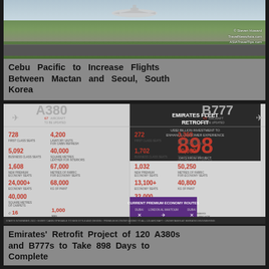[Figure (photo): Cebu Pacific aircraft on runway, photo credit Steven Howard, TravelNewsAsia.com, ASIATravelTips.com]
Cebu Pacific to Increase Flights Between Mactan and Seoul, South Korea
[Figure (infographic): Emirates Fleet Retrofit infographic: A380 67 aircraft to be updated, B777 53 aircraft to be updated. US$2 billion investment to enhance customer experience. 898 days from project start to finish. A380: 728 first class seats, 4,200 lavatory units for cabin refresh, 5,092 business class seats, 40,000 square metres leather for interiors, 1,608 new premium economy seats, 67,000 metres of fabric for economy seats, 24,000+ economy seats, 68,000 kg of paint, 40,000 square metres of carpets, 16 days to retrofit one aircraft, 1,000 man hours a day. B777: 272 first class seats, 3,360 lavatory units for cabin refresh, 1,702 business class seats, 30,000 square metres leather for interiors, 1,032 new premium economy seats, 50,250 metres of fabric for economy seats, 13,100+ economy seats, 40,800 kg of paint, 32,000 square metres of carpets. 4 aircraft retrofitted every month, 190 engineers required for the project. Current premium economy routes: Dubai, London Al Maktoum, Dubai. Starts November 2022. Every cabin operable to new style and design. Premium economy added to all 120 aircraft. Undertaken at Emirates Engineering.]
Emirates' Retrofit Project of 120 A380s and B777s to Take 898 Days to Complete